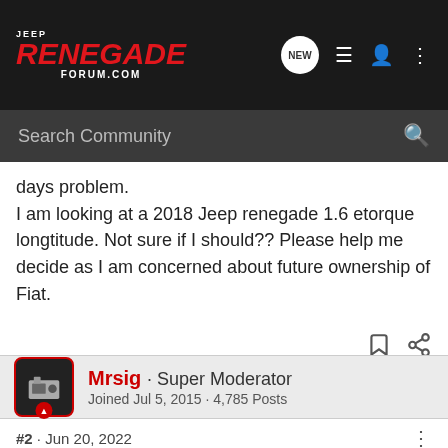Jeep Renegade Forum.com
days problem.
I am looking at a 2018 Jeep renegade 1.6 etorque longtitude. Not sure if I should?? Please help me decide as I am concerned about future ownership of Fiat.
Mrsig · Super Moderator
Joined Jul 5, 2015 · 4,785 Posts
#2 · Jun 20, 2022
and enjoy the forum!